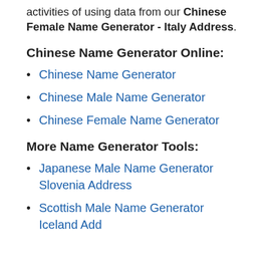activities of using data from our Chinese Female Name Generator - Italy Address.
Chinese Name Generator Online:
Chinese Name Generator
Chinese Male Name Generator
Chinese Female Name Generator
More Name Generator Tools:
Japanese Male Name Generator Slovenia Address
Scottish Male Name Generator Iceland Address